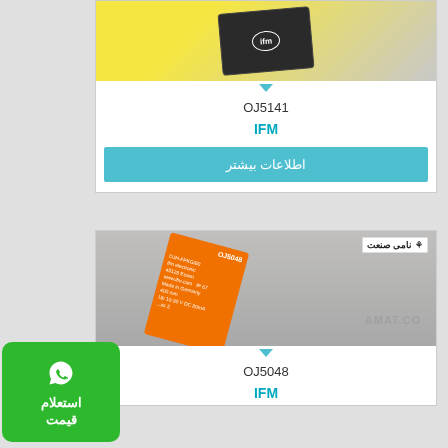[Figure (photo): IFM sensor OJ5141, black square sensor on yellow background]
OJ5141
IFM
اطلاعات بیشتر
[Figure (photo): IFM sensor OJ5048, orange label showing OJH-FPKG/80, ifm electronic, 45128 Essen, www.ifm.com, IP 67, Made in Germany, 400 mm, Up 10-30 V DC]
OJ5048
IFM
[Figure (illustration): WhatsApp استعلام قیمت button - green rounded rectangle with WhatsApp icon]